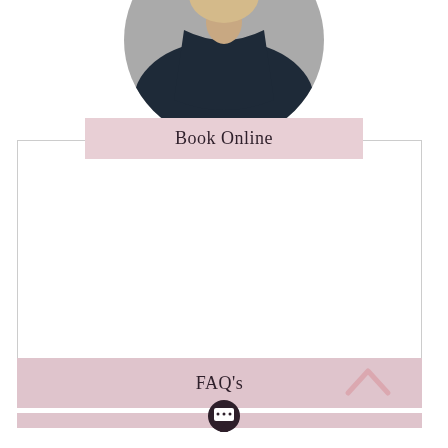[Figure (photo): Circular cropped photo of a person from behind, showing hair styled in an updo, wearing a dark navy jacket. Gray background.]
Book Online
[Figure (other): White rectangular content area with thin gray border, containing empty white space (booking widget area).]
FAQ's
[Figure (other): Pink/mauve bottom bar strip]
[Figure (other): Dark circular chat/message bubble icon at bottom center]